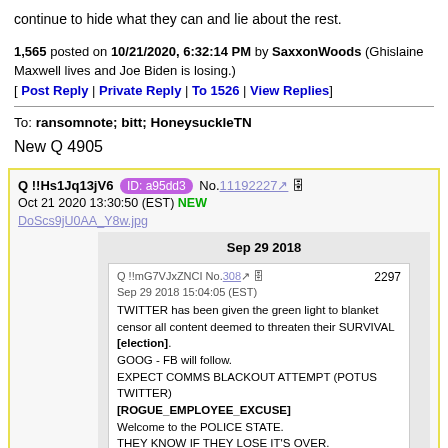continue to hide what they can and lie about the rest.
1,565 posted on 10/21/2020, 6:32:14 PM by SaxxonWoods (Ghislaine Maxwell lives and Joe Biden is losing.) [ Post Reply | Private Reply | To 1526 | View Replies]
To: ransomnote; bitt; HoneysuckleTN
New Q 4905
[Figure (screenshot): Screenshot of a Q post from Oct 21 2020 13:30:50 (EST) with ID a95dd3, No. 11192227, marked NEW. Contains a link DoScs9jU0AA_Y8w.jpg. Embedded inner screenshot dated Sep 29 2018 with Q post No 308 from Sep 29 2018 15:04:05 (EST), numbered 2297, with text: TWITTER has been given the green light to blanket censor all content deemed to threaten their SURVIVAL [election]. GOOG - FB will follow. EXPECT COMMS BLACKOUT ATTEMPT (POTUS TWITTER) [ROGUE_EMPLOYEE_EXCUSE] Welcome to the POLICE STATE. THEY KNOW IF THEY LOSE IT'S OVER. THE TIME TO FIGHT!!!!!!!!! IS NOW.]